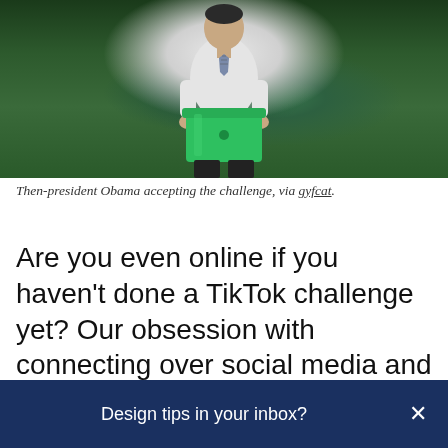[Figure (photo): Then-president Obama in a white dress shirt and tie, holding a large green bucket/tub, standing in front of green hedges/bushes. Ice Bucket Challenge photo.]
Then-president Obama accepting the challenge, via gyfcat.
Are you even online if you haven't done a TikTok challenge yet? Our obsession with connecting over social media and daring each other to share recordings has been growing for years
Design tips in your inbox?